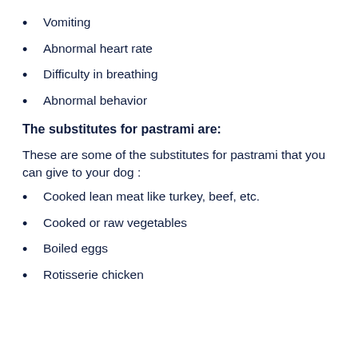Vomiting
Abnormal heart rate
Difficulty in breathing
Abnormal behavior
The substitutes for pastrami are:
These are some of the substitutes for pastrami that you can give to your dog :
Cooked lean meat like turkey, beef, etc.
Cooked or raw vegetables
Boiled eggs
Rotisserie chicken